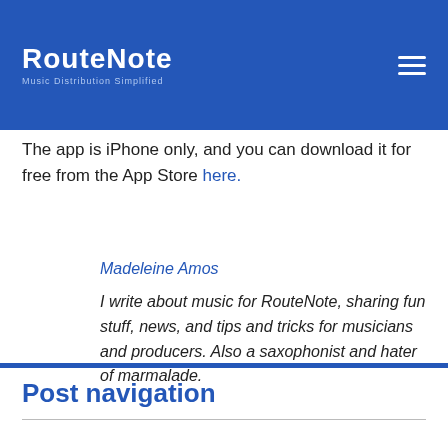RouteNote — Music Distribution Simplified
The app is iPhone only, and you can download it for free from the App Store here.
Madeleine Amos
I write about music for RouteNote, sharing fun stuff, news, and tips and tricks for musicians and producers. Also a saxophonist and hater of marmalade.
Post navigation